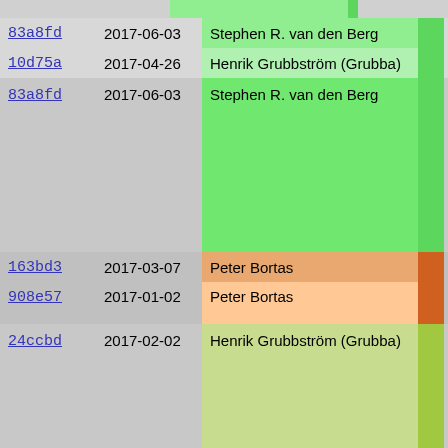| Hash | Date | Author | Message |
| --- | --- | --- | --- |
| 83a8fd | 2017-06-03 | Stephen R. van den Berg | - Perform |
| 10d75a | 2017-04-26 | Henrik Grubbström (Grubba) | thread s |
| 83a8fd | 2017-06-03 | Stephen R. van den Berg | o Sql.pgsql

- Added a
  to reso
  (many p
  in a de |
| 163bd3 | 2017-03-07 | Peter Bortas |  |
| 908e57 | 2017-01-02 | Peter Bortas | Changes sinc
----------- |
| 24ccbd | 2017-02-02 | Henrik Grubbström (Grubba) | New Features
-----------

o Mysql.Sql7

  sizeof() c

o Web

  - Updated

  - Added.d |